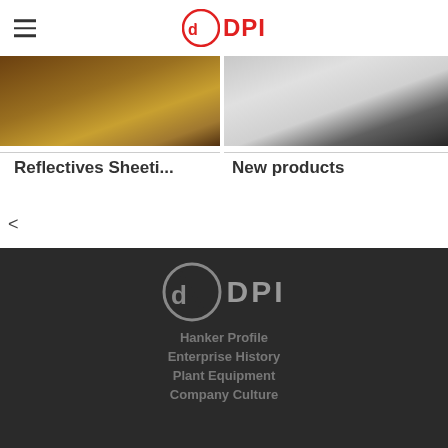DPI logo header with hamburger menu
[Figure (photo): Product image left - warm brown/gold tones showing reflective sheeting product]
[Figure (photo): Product image right - grey/dark tones showing new products]
Reflectives Sheeti...
New products
<
[Figure (logo): DPI logo in grey/white on dark background]
Hanker Profile
Enterprise History
Plant Equipment
Company Culture